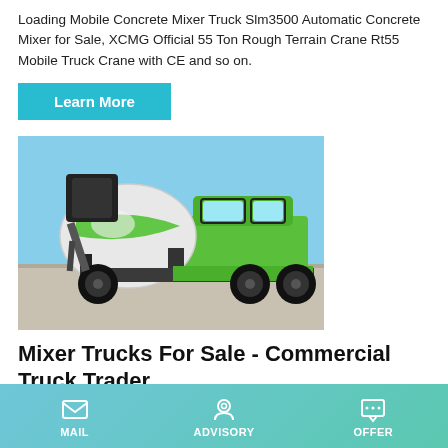Loading Mobile Concrete Mixer Truck Slm3500 Automatic Concrete Mixer for Sale, XCMG Official 55 Ton Rough Terrain Crane Rt55 Mobile Truck Crane with CE and so on.
Learn More
[Figure (photo): A green and black self-loading concrete mixer truck photographed outdoors against a light blue sky background.]
Mixer Trucks For Sale - Commercial Truck Trader
2007 PETERBILT 357 Mixer Truck, Sling Truck, Concrete...
MAIL   ADVISORY   OFFER